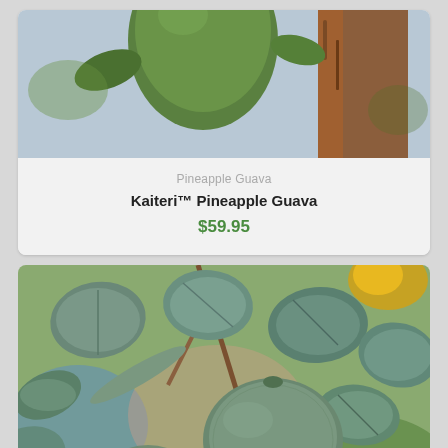[Figure (photo): Top portion of a pineapple guava fruit hanging on a tree branch with brown bark, partially cropped at the top of the card]
Pineapple Guava
Kaiteri™ Pineapple Guava
$59.95
[Figure (photo): Close-up photo of pineapple guava (feijoa) fruits and round blue-green leaves on a branch, with a blurred outdoor background showing blue, pink, and green tones]